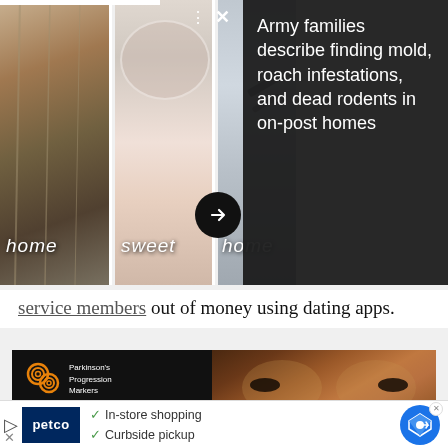[Figure (photo): Screenshot of a news website showing a photo collage of home interior photos with overlaid text 'home sweet home' and a dark overlay with article headline about Army families finding mold, roach infestations, and dead rodents in on-post homes, with navigation arrows and UI controls]
service members out of money using dating apps.
[Figure (photo): Advertisement for Parkinson's Progression Markers Initiative (PPMI) showing an older Black man's face close-up on the right, and on the left the text 'He doesn't have Parkinson's. But he can help end it.' in orange and white text on black background, with the PPMI logo.]
[Figure (photo): Bottom banner advertisement for Petco showing the Petco logo, checkmarks for 'In-store shopping' and 'Curbside pickup', and a Google Maps navigation icon on the right.]